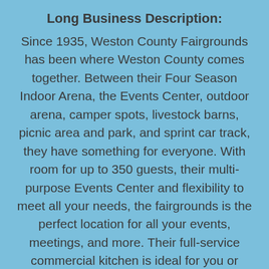Long Business Description:
Since 1935, Weston County Fairgrounds has been where Weston County comes together. Between their Four Season Indoor Arena, the Events Center, outdoor arena, camper spots, livestock barns, picnic area and park, and sprint car track, they have something for everyone. With room for up to 350 guests, their multi-purpose Events Center and flexibility to meet all your needs, the fairgrounds is the perfect location for all your events, meetings, and more. Their full-service commercial kitchen is ideal for you or your caterer to prepare